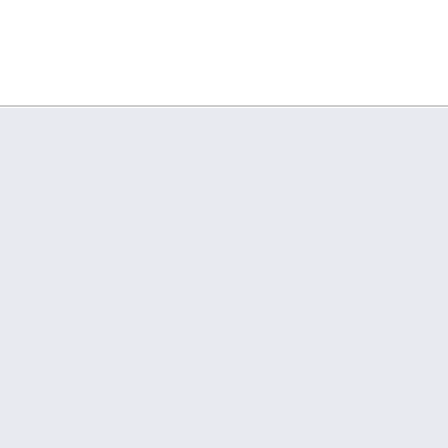ре
VB_Foil
Sunset Status
[Figure (photo): Person windsurfing with a large green sail over water]
Posts: 342
« R
05:
Da
lea
Th
eve
wir
wil
cra
lea
eve
spe

My
exi
wa
wir
ove
se(
mu